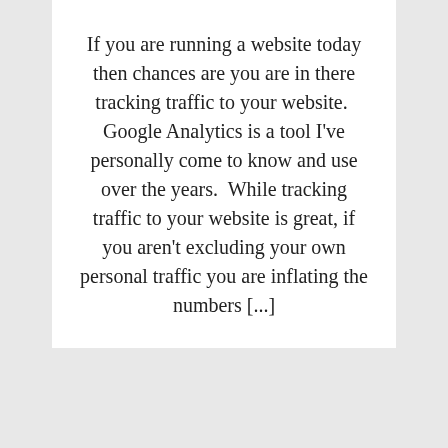If you are running a website today then chances are you are in there tracking traffic to your website.  Google Analytics is a tool I've personally come to know and use over the years.  While tracking traffic to your website is great, if you aren't excluding your own personal traffic you are inflating the numbers [...]
Copyright © 2022 · Essence Pro on Genesis Framework · WordPress · Log in